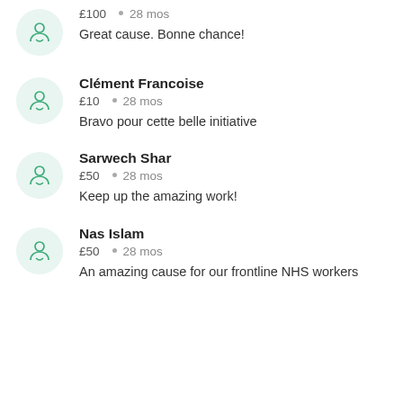£100  •  28 mos
Great cause. Bonne chance!
Clément Francoise
£10  •  28 mos
Bravo pour cette belle initiative
Sarwech Shar
£50  •  28 mos
Keep up the amazing work!
Nas Islam
£50  •  28 mos
An amazing cause for our frontline NHS workers